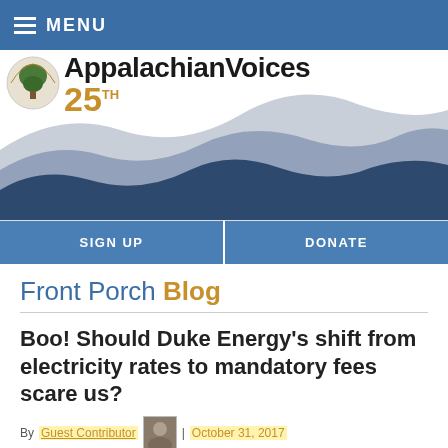MENU
[Figure (logo): Appalachian Voices logo with tree emblem and '25' anniversary mark, with mountain silhouette banner]
SIGN UP
DONATE
Front Porch Blog
Boo! Should Duke Energy's shift from electricity rates to mandatory fees scare us?
By Guest Contributor | October 31, 2017